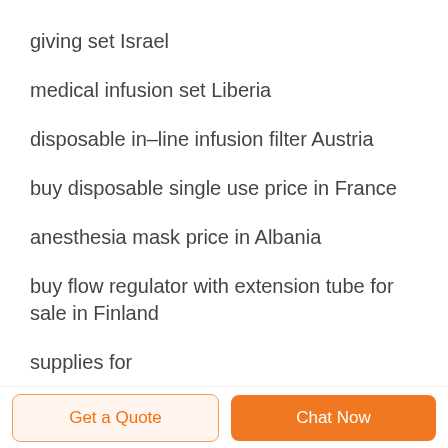giving set Israel
medical infusion set Liberia
disposable in–line infusion filter Austria
buy disposable single use price in France
anesthesia mask price in Albania
buy flow regulator with extension tube for sale in Finland
supplies for
Get a Quote   Chat Now